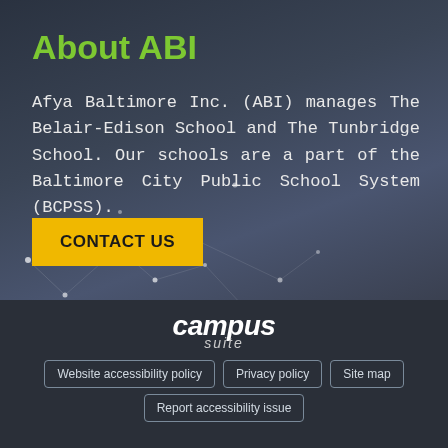About ABI
Afya Baltimore Inc. (ABI) manages The Belair-Edison School and The Tunbridge School. Our schools are a part of the Baltimore City Public School System (BCPSS).
CONTACT US
[Figure (logo): Campus Suite logo with 'campus' in large italic bold white text and 'suite' in smaller italic gray text below]
Website accessibility policy | Privacy policy | Site map | Report accessibility issue